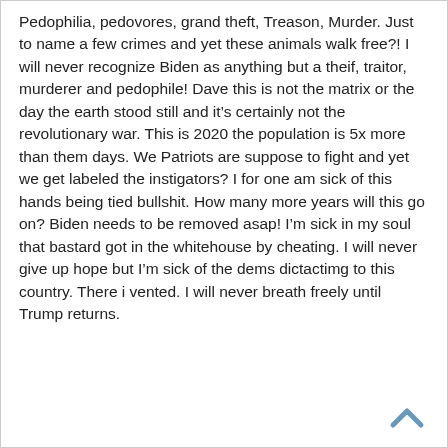Pedophilia, pedovores, grand theft, Treason, Murder. Just to name a few crimes and yet these animals walk free?! I will never recognize Biden as anything but a theif, traitor, murderer and pedophile! Dave this is not the matrix or the day the earth stood still and it’s certainly not the revolutionary war. This is 2020 the population is 5x more than them days. We Patriots are suppose to fight and yet we get labeled the instigators? I for one am sick of this hands being tied bullshit. How many more years will this go on? Biden needs to be removed asap! I’m sick in my soul that bastard got in the whitehouse by cheating. I will never give up hope but I’m sick of the dems dictactimg to this country. There i vented. I will never breath freely until Trump returns.